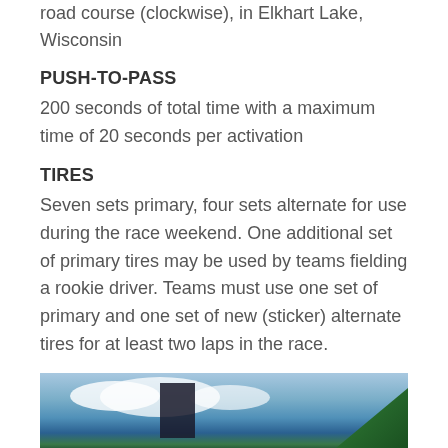road course (clockwise), in Elkhart Lake, Wisconsin
PUSH-TO-PASS
200 seconds of total time with a maximum time of 20 seconds per activation
TIRES
Seven sets primary, four sets alternate for use during the race weekend. One additional set of primary tires may be used by teams fielding a rookie driver. Teams must use one set of primary and one set of new (sticker) alternate tires for at least two laps in the race.
[Figure (photo): Outdoor photo showing a blue sky with white clouds and green grass/foliage in the foreground, with a dark racing car element visible]